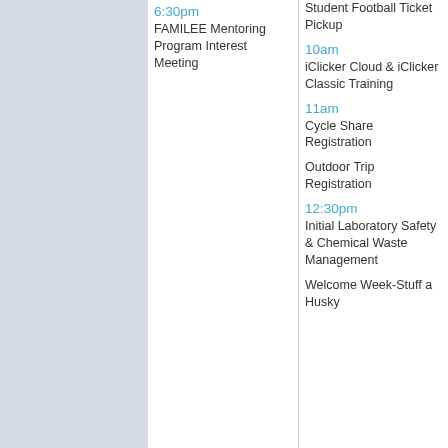6:30pm
FAMILEE Mentoring Program Interest Meeting
Student Football Ticket Pickup
10am
iClicker Cloud & iClicker Classic Training
11am
Cycle Share Registration
Outdoor Trip Registration
12:30pm
Initial Laboratory Safety & Chemical Waste Management
Welcome Week-Stuff a Husky
5pm
Insurance Law Center Welcome Reception
Law Individual Field Placement Program Orientation
5:10pm
Tai Chi Club
6pm
AASI 3998-As American Experience